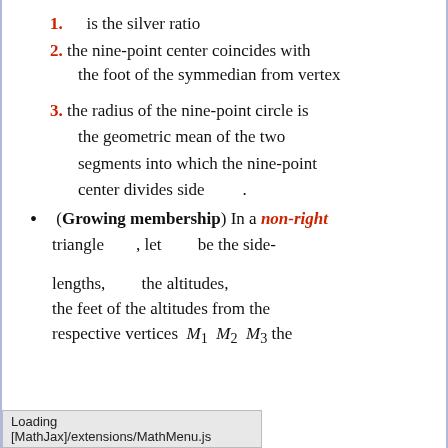1. is the silver ratio
2. the nine-point center coincides with the foot of the symmedian from vertex
3. the radius of the nine-point circle is the geometric mean of the two segments into which the nine-point center divides side .
(Growing membership) In a non-right triangle , let be the side-lengths, the altitudes, the feet of the altitudes from the respective vertices M1 M2 M3 the ... in that
Loading [MathJax]/extensions/MathMenu.js